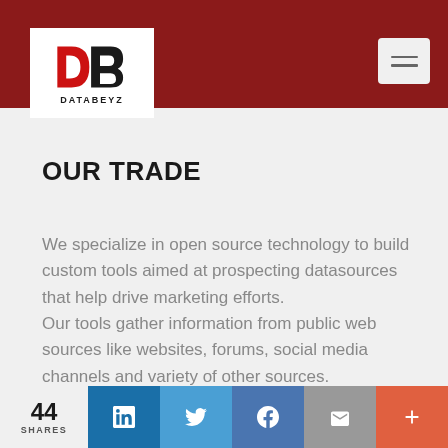[Figure (logo): DATABEYZ logo: red D and black B lettermark with DATABEYZ text below, on white background inside dark red header bar]
OUR TRADE
We specialize in open source technology to build custom tools aimed at prospecting datasources that help drive marketing efforts.
Our tools gather information from public web sources like websites, forums, social media channels and variety of other sources.
44 SHARES | LinkedIn | Twitter | Facebook | Email | +